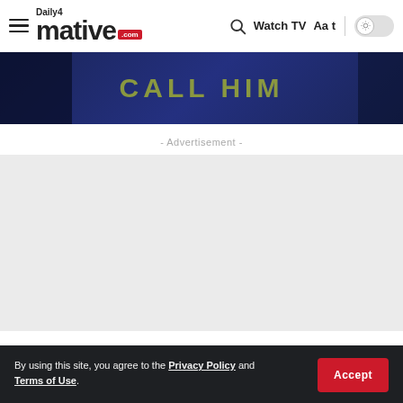Daily4 mative .com | Watch TV Aa t
[Figure (photo): Dark navy blue banner image with 'CALL HIM' text in olive/green military-style letters, partially obscured]
- Advertisement -
By using this site, you agree to the Privacy Policy and Terms of Use.